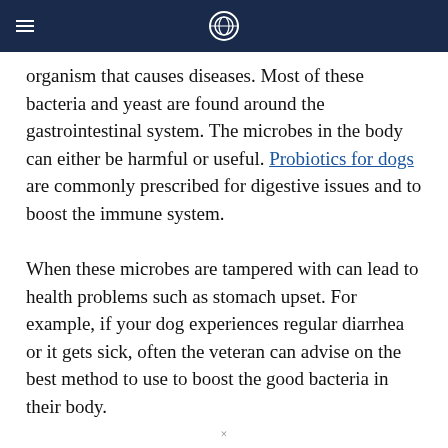organism that causes diseases. Most of these bacteria and yeast are found around the gastrointestinal system. The microbes in the body can either be harmful or useful. Probiotics for dogs are commonly prescribed for digestive issues and to boost the immune system.
When these microbes are tampered with can lead to health problems such as stomach upset. For example, if your dog experiences regular diarrhea or it gets sick, often the veteran can advise on the best method to use to boost the good bacteria in their body.